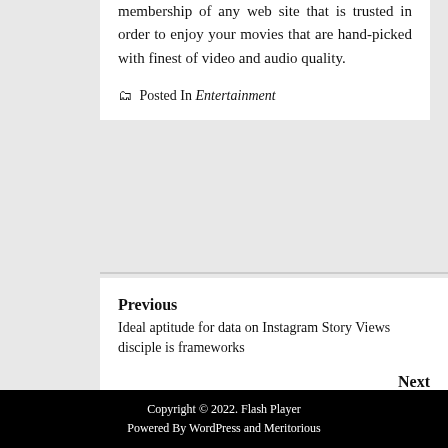membership of any web site that is trusted in order to enjoy your movies that are hand-picked with finest of video and audio quality.
Posted In Entertainment
Previous
Ideal aptitude for data on Instagram Story Views disciple is frameworks
Next
Enjoy your Time with Inexpensive Toys
Copyright © 2022. Flash Player
Powered By WordPress and Meritorious